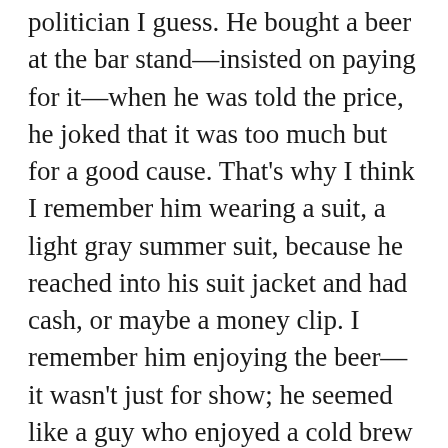politician I guess. He bought a beer at the bar stand—insisted on paying for it—when he was told the price, he joked that it was too much but for a good cause. That's why I think I remember him wearing a suit, a light gray summer suit, because he reached into his suit jacket and had cash, or maybe a money clip. I remember him enjoying the beer—it wasn't just for show; he seemed like a guy who enjoyed a cold brew on a hot summer night. Shook a few hands. People were excited to see him. It is not unusual for a city official to make an appearance at The Feast, but Cunningham struck me as more of a celebrity than other local politicians. I've never forgotten that moment, my only glimpse of the man.
His death was sudden, heart attack while jogging. For more on kind of double history on the noted